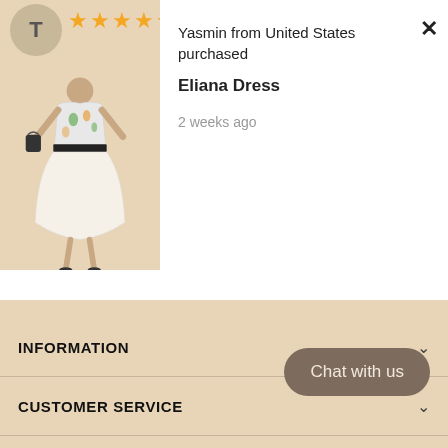[Figure (screenshot): Purchase notification popup showing a woman in a floral off-shoulder dress with 5 star rating]
Yasmin from United States purchased
Eliana Dress
2 weeks ago
INFORMATION
CUSTOMER SERVICE
SHOP NOW
Chat with us